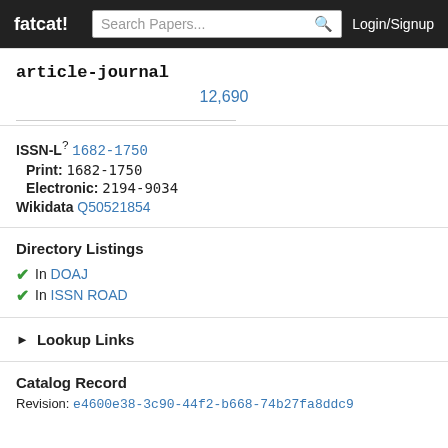fatcat! | Search Papers... | Login/Signup
article-journal
12,690
ISSN-L? 1682-1750
Print: 1682-1750
Electronic: 2194-9034
Wikidata Q50521854
Directory Listings
✔ In DOAJ
✔ In ISSN ROAD
▶ Lookup Links
Catalog Record
Revision: e4600e38-3c90-44f2-b668-74b27fa8ddc9